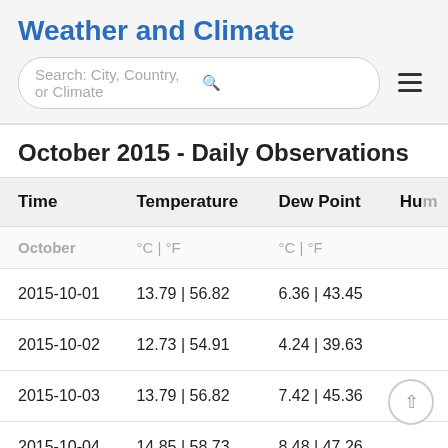Weather and Climate
Search: City, Country, or Climate
October 2015 - Daily Observations
| Time | Temperature | Dew Point | Hum |
| --- | --- | --- | --- |
| October | °C | °F | °C | °F |  |
| 2015-10-01 | 13.79 | 56.82 | 6.36 | 43.45 |  |
| 2015-10-02 | 12.73 | 54.91 | 4.24 | 39.63 |  |
| 2015-10-03 | 13.79 | 56.82 | 7.42 | 45.36 |  |
| 2015-10-04 | 14.85 | 58.73 | 8.48 | 47.26 |  |